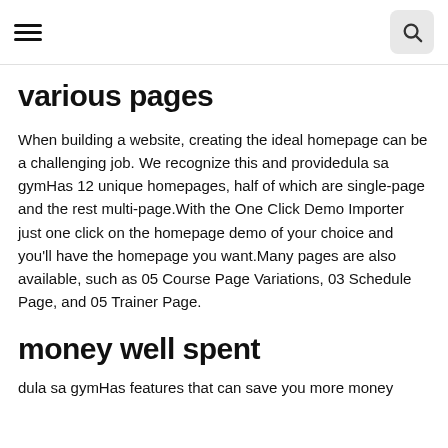[hamburger menu] [search button]
various pages
When building a website, creating the ideal homepage can be a challenging job. We recognize this and providedula sa gymHas 12 unique homepages, half of which are single-page and the rest multi-page.With the One Click Demo Importer just one click on the homepage demo of your choice and you'll have the homepage you want.Many pages are also available, such as 05 Course Page Variations, 03 Schedule Page, and 05 Trainer Page.
money well spent
dula sa gymHas features that can save you more money